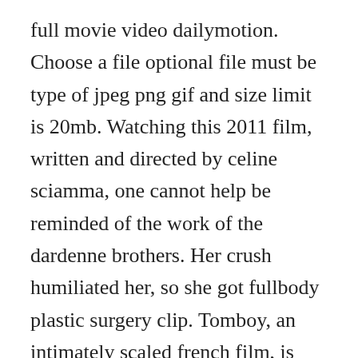full movie video dailymotion. Choose a file optional file must be type of jpeg png gif and size limit is 20mb. Watching this 2011 film, written and directed by celine sciamma, one cannot help be reminded of the work of the dardenne brothers. Her crush humiliated her, so she got fullbody plastic surgery clip. Tomboy, an intimately scaled french film, is about a 10yearold girl who wants to be a boy, or at least enjoy some boyish freedoms. A new road movie through cinema part 1 documentary 2019 179 mins director. Instead of asserting themselves into the world...